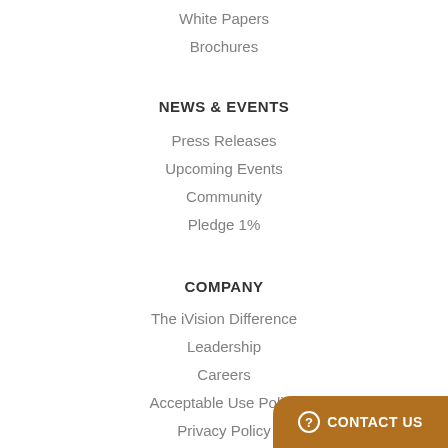White Papers
Brochures
NEWS & EVENTS
Press Releases
Upcoming Events
Community
Pledge 1%
COMPANY
The iVision Difference
Leadership
Careers
Acceptable Use Policy
Privacy Policy
CONTACT US